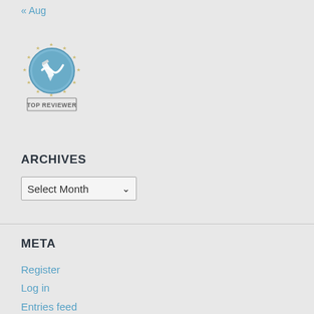« Aug
[Figure (logo): Top Reviewer badge: circular blue shield with pencil icon, surrounded by gold stars, with 'TOP REVIEWER' text at the bottom in a rectangular label]
ARCHIVES
Select Month
META
Register
Log in
Entries feed
Comments feed
WordPress.com